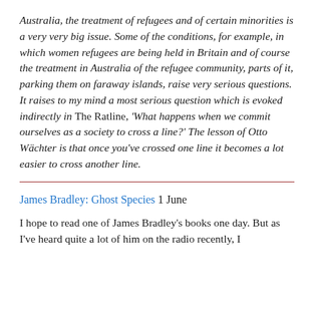Australia, the treatment of refugees and of certain minorities is a very very big issue. Some of the conditions, for example, in which women refugees are being held in Britain and of course the treatment in Australia of the refugee community, parts of it, parking them on faraway islands, raise very serious questions. It raises to my mind a most serious question which is evoked indirectly in The Ratline, 'What happens when we commit ourselves as a society to cross a line?' The lesson of Otto Wächter is that once you've crossed one line it becomes a lot easier to cross another line.
James Bradley: Ghost Species 1 June
I hope to read one of James Bradley's books one day. But as I've heard quite a lot of him on the radio recently, I